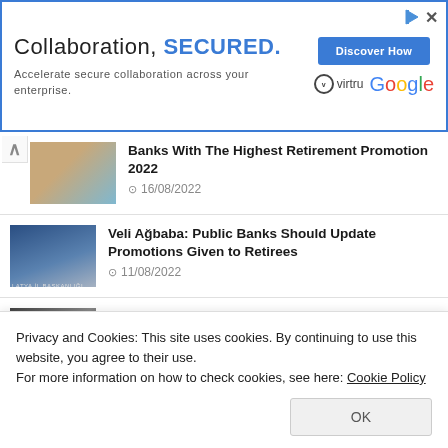[Figure (screenshot): Advertisement banner: 'Collaboration, SECURED.' with Virtru and Google logos and 'Discover How' button]
Banks With The Highest Retirement Promotion 2022
16/08/2022
Veli Ağbaba: Public Banks Should Update Promotions Given to Retirees
11/08/2022
IMM Decided to Increase the Salaries of its Employees for the Second Time
Privacy and Cookies: This site uses cookies. By continuing to use this website, you agree to their use.
For more information on how to check cookies, see here: Cookie Policy
Sakarya Became the Second Stop of Mercedes-Benz